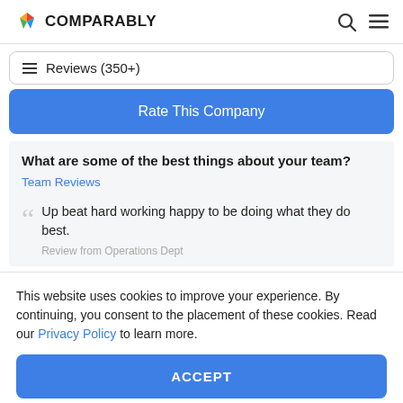COMPARABLY
Reviews (350+)
Rate This Company
What are some of the best things about your team?
Team Reviews
Up beat hard working happy to be doing what they do best.
Review from Operations Dept
This website uses cookies to improve your experience. By continuing, you consent to the placement of these cookies. Read our Privacy Policy to learn more.
ACCEPT